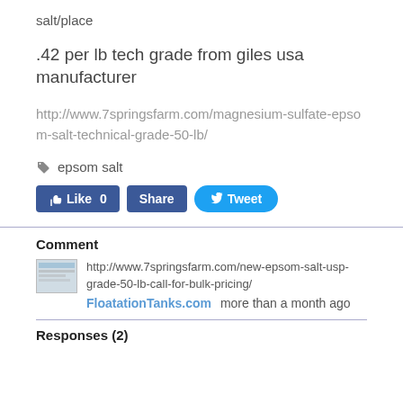salt/place
.42 per lb tech grade from giles usa manufacturer
http://www.7springsfarm.com/magnesium-sulfate-epsom-salt-technical-grade-50-lb/
epsom salt
[Figure (other): Facebook Like (0), Share, and Twitter Tweet social media buttons]
Comment
http://www.7springsfarm.com/new-epsom-salt-usp-grade-50-lb-call-for-bulk-pricing/
FloatationTanks.com  more than a month ago
Responses (2)